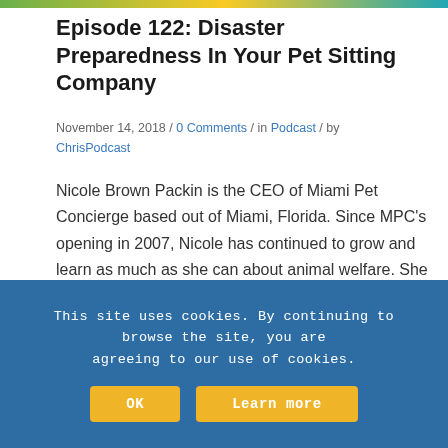[Figure (photo): Partial image strip at top of page showing colorful outdoor scene]
Episode 122: Disaster Preparedness In Your Pet Sitting Company
November 14, 2018 / 0 Comments / in Podcast / by ChrisPodcast
Nicole Brown Packin is the CEO of Miami Pet Concierge based out of Miami, Florida. Since MPC's opening in 2007, Nicole has continued to grow and learn as much as she can about animal welfare. She earned her Small Animal Massage Practitioner (SAMP) Certificate in Maintenance, Performance, and Rehabilitation Massage from Northwest School of Animal [...]
This site uses cookies. By continuing to browse the site, you are agreeing to our use of cookies.